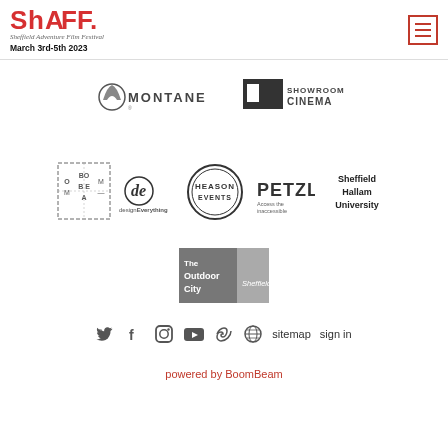[Figure (logo): ShAFF - Sheffield Adventure Film Festival logo in red with tagline and date March 3rd-5th 2023]
[Figure (logo): Hamburger menu icon with red border]
[Figure (logo): Montane sponsor logo]
[Figure (logo): Showroom Cinema sponsor logo]
[Figure (logo): BoomBeam logo]
[Figure (logo): designEverything logo]
[Figure (logo): Heason Events logo]
[Figure (logo): Petzl logo]
[Figure (logo): Sheffield Hallam University logo]
[Figure (logo): The Outdoor City Sheffield logo]
[Figure (infographic): Social media icons row: Twitter, Facebook, Instagram, YouTube, Vimeo, Globe, sitemap, sign in]
powered by BoomBeam